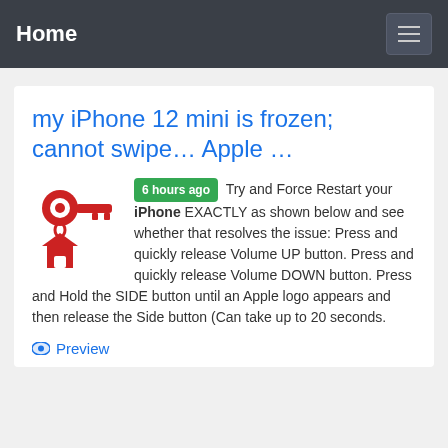Home
my iPhone 12 mini is frozen; cannot swipe… Apple …
[Figure (illustration): Red key with house keychain icon]
6 hours ago Try and Force Restart your iPhone EXACTLY as shown below and see whether that resolves the issue: Press and quickly release Volume UP button. Press and quickly release Volume DOWN button. Press and Hold the SIDE button until an Apple logo appears and then release the Side button (Can take up to 20 seconds.
Preview